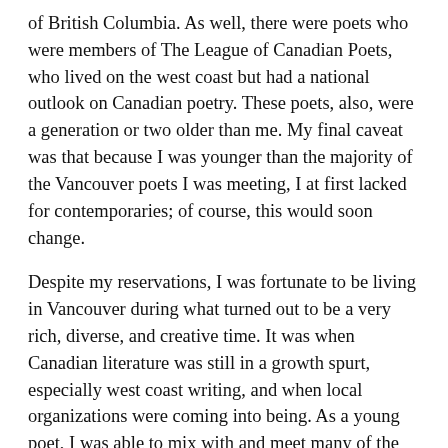of British Columbia. As well, there were poets who were members of The League of Canadian Poets, who lived on the west coast but had a national outlook on Canadian poetry. These poets, also, were a generation or two older than me. My final caveat was that because I was younger than the majority of the Vancouver poets I was meeting, I at first lacked for contemporaries; of course, this would soon change.
Despite my reservations, I was fortunate to be living in Vancouver during what turned out to be a very rich, diverse, and creative time. It was when Canadian literature was still in a growth spurt, especially west coast writing, and when local organizations were coming into being. As a young poet, I was able to mix with and meet many of the older, established, and senior poets, both in B.C. and across Canada. The literary communities in Vancouver and nationally were open, fluid, and—although there were the inevitable cliques—it seemed that we all came together as a community; we were ‘the tribe of writers’ as Margaret Laurence once said.
[Figure (photo): A photograph showing a person standing indoors, partially visible, with a door frame and light background.]
During those foundation